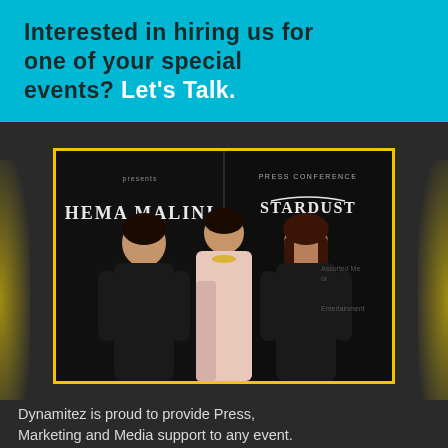Interested in hiring us for one of your special events? Let's Talk.
[Figure (photo): Three women posing at a press conference event with a backdrop showing 'HEMA MALINI' and 'Stardust Press Conference' signage. The woman in the center wears a light pink saree, flanked by two women in black outfits.]
PRESS, MARKETING & MEDIA REPRESENTATION
Dynamitez is proud to provide Press, Marketing and Media support to any event. Whether you would like live social media coverage, bloggers/vloggers as an aftermath